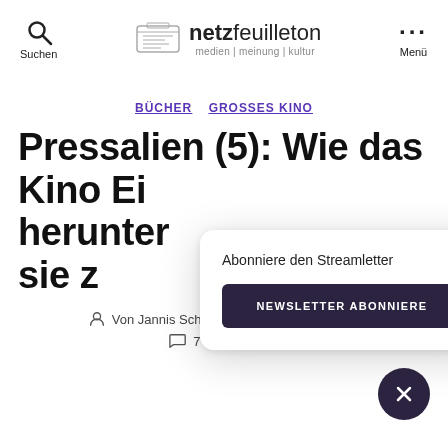netzfeuilleton medien | meinung | kultur
BÜCHER  GROSSES KINO
Pressalien (5): Wie das Kino En… heruntergekommen... sie z…
Abonniere den Streamletter
NEWSLETTER ABONNIERE
Von Jannis Schakarian  Sep 1, 2011  7 Kommentare